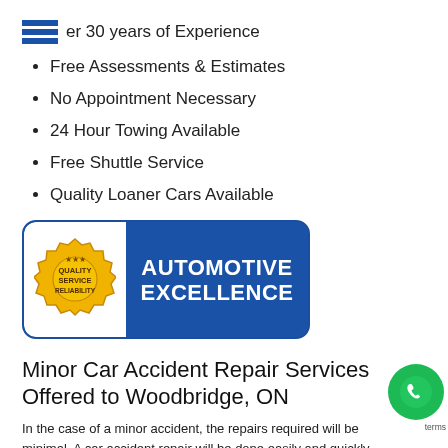Over 30 years of Experience
Free Assessments & Estimates
No Appointment Necessary
24 Hour Towing Available
Free Shuttle Service
Quality Loaner Cars Available
[Figure (logo): Automotive Excellence badge with gold Quality Service Reliability seal on white background and blue rounded rectangle with white text AUTOMOTIVE EXCELLENCE]
Minor Car Accident Repair Services Offered to Woodbridge, ON
In the case of a minor accident, the repairs required will be minimal. A car accident repair will be done easily and quickly since